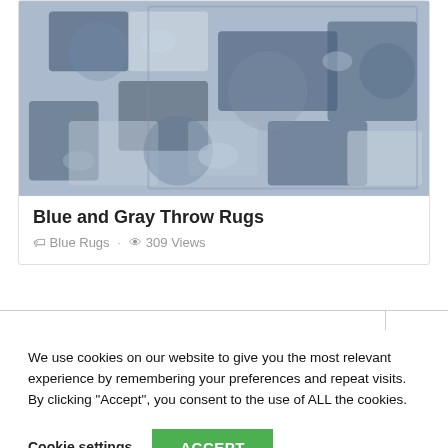[Figure (photo): Photograph of a blue and gray distressed/vintage style throw rug with floral and abstract patterns]
Blue and Gray Throw Rugs
Blue Rugs · 309 Views
We use cookies on our website to give you the most relevant experience by remembering your preferences and repeat visits. By clicking “Accept”, you consent to the use of ALL the cookies.
Cookie settings   ACCEPT